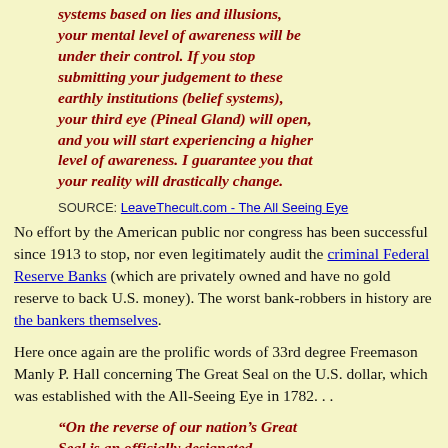systems based on lies and illusions, your mental level of awareness will be under their control. If you stop submitting your judgement to these earthly institutions (belief systems), your third eye (Pineal Gland) will open, and you will start experiencing a higher level of awareness. I guarantee you that your reality will drastically change.
SOURCE: LeaveThecult.com - The All Seeing Eye
No effort by the American public nor congress has been successful since 1913 to stop, nor even legitimately audit the criminal Federal Reserve Banks (which are privately owned and have no gold reserve to back U.S. money). The worst bank-robbers in history are the bankers themselves.
Here once again are the prolific words of 33rd degree Freemason Manly P. Hall concerning The Great Seal on the U.S. dollar, which was established with the All-Seeing Eye in 1782. . .
“On the reverse of our nation’s Great Seal is an officially designated...